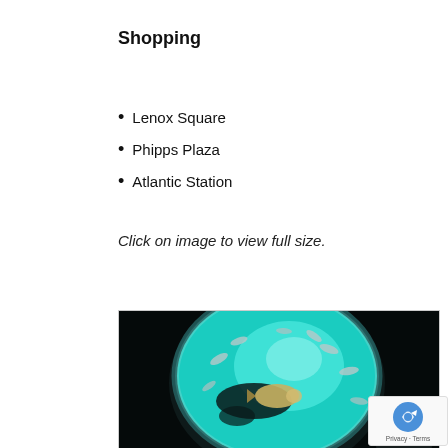Shopping
Lenox Square
Phipps Plaza
Atlantic Station
Click on image to view full size.
[Figure (photo): Circular aquarium window view showing fish swimming in blue-teal lit water, with a large fish in the center and several smaller fish around it, viewed from below/side, dark surroundings]